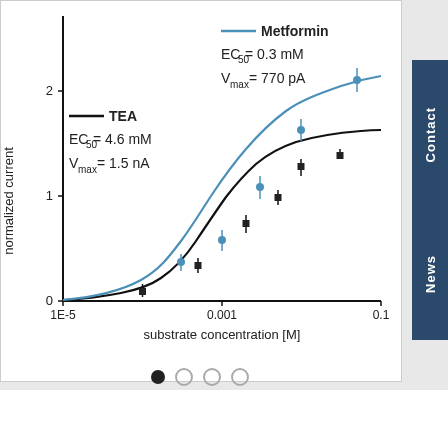[Figure (continuous-plot): Dose-response (Michaelis-Menten) curves for Metformin (blue) and TEA (black) showing normalized current vs substrate concentration [M] on a log x-axis. Metformin: EC50=0.3 mM, Vmax=770 pA. TEA: EC50=4.6 mM, Vmax=1.5 nA. Data points shown with error bars.]